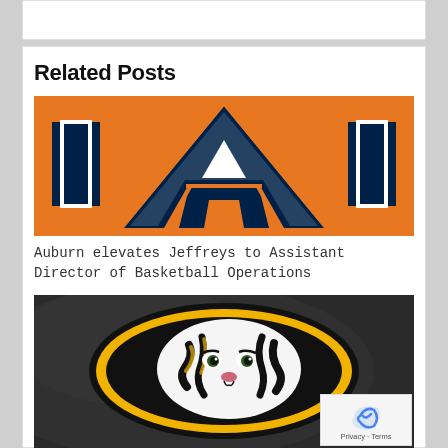Related Posts
[Figure (logo): Auburn University athletics logo — stylized 'AU' letters in navy blue on orange background with white outline border]
Auburn elevates Jeffreys to Assistant Director of Basketball Operations
[Figure (logo): Missouri Tigers athletics logo — tiger head illustration inside a gold and black oval on dark background]